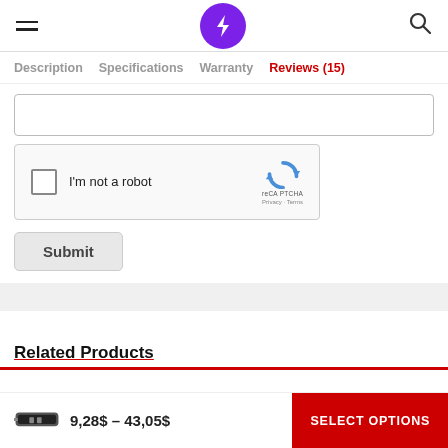Header with hamburger menu, lightning bolt logo, search icon
Description  Specifications  Warranty  Reviews (15)
[Figure (screenshot): Partially visible text input field (top cropped)]
[Figure (screenshot): reCAPTCHA widget with checkbox labeled 'I'm not a robot']
Submit
Related Products
9,28$ – 43,05$  SELECT OPTIONS